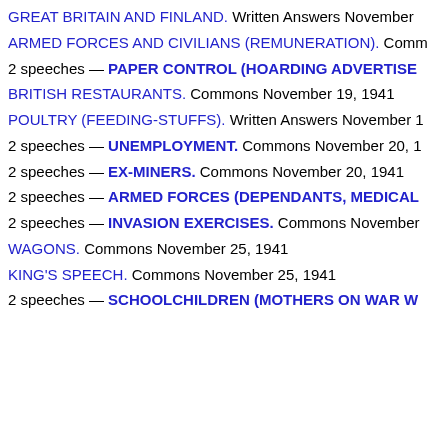GREAT BRITAIN AND FINLAND. Written Answers November...
ARMED FORCES AND CIVILIANS (REMUNERATION). Comm...
2 speeches — PAPER CONTROL (HOARDING ADVERTISE...
BRITISH RESTAURANTS. Commons November 19, 1941
POULTRY (FEEDING-STUFFS). Written Answers November 1...
2 speeches — UNEMPLOYMENT. Commons November 20, 1...
2 speeches — EX-MINERS. Commons November 20, 1941
2 speeches — ARMED FORCES (DEPENDANTS, MEDICAL...
2 speeches — INVASION EXERCISES. Commons November...
WAGONS. Commons November 25, 1941
KING'S SPEECH. Commons November 25, 1941
2 speeches — SCHOOLCHILDREN (MOTHERS ON WAR W...